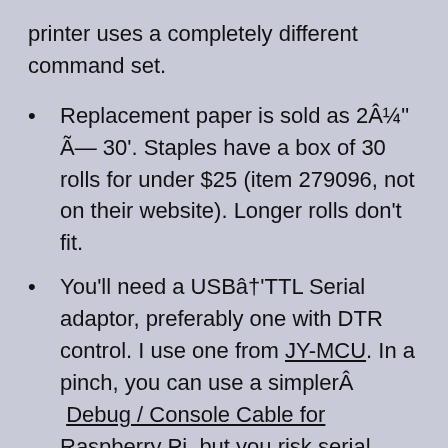printer uses a completely different command set.
Replacement paper is sold as 2¼" ×— 30'. Staples have a box of 30 rolls for under $25 (item 279096, not on their website). Longer rolls don't fit.
You'll need a USBâ†'TTL Serial adaptor, preferably one with DTR control. I use one from JY-MCU. In a pinch, you can use a simpler  Debug / Console Cable for Raspberry Pi, but you risk serial overruns and dodgy results. Remember that RX on the adaptor goes to TX on the